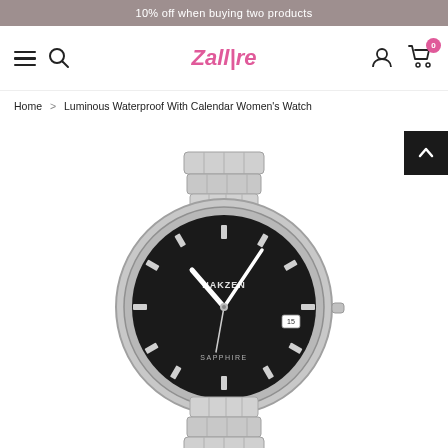10% off when buying two products
[Figure (logo): Zallore ecommerce website navigation bar with hamburger menu, search icon, Zallore logo in pink, user account icon, and cart icon with badge showing 0]
Home > Luminous Waterproof With Calendar Women's Watch
[Figure (photo): NAKZEN brand women's watch with silver stainless steel bracelet band, black textured dial face with silver hour markers, white hands, date window at 3 o'clock, and SAPPHIRE text at 6 o'clock position]